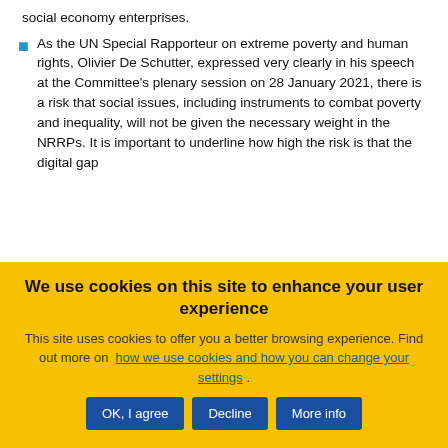social economy enterprises.
As the UN Special Rapporteur on extreme poverty and human rights, Olivier De Schutter, expressed very clearly in his speech at the Committee's plenary session on 28 January 2021, there is a risk that social issues, including instruments to combat poverty and inequality, will not be given the necessary weight in the NRRPs. It is important to underline how high the risk is that the digital gap
We use cookies on this site to enhance your user experience
This site uses cookies to offer you a better browsing experience. Find out more on how we use cookies and how you can change your settings .
OK, I agree | Decline | More info